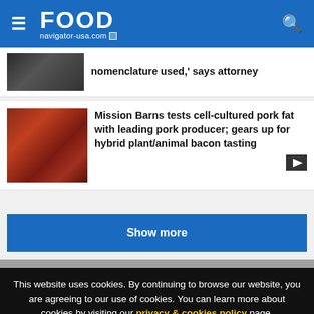FOOD navigator-usa.com
nomenclature used,' says attorney
Mission Barns tests cell-cultured pork fat with leading pork producer; gears up for hybrid plant/animal bacon tasting
Show more
This website uses cookies. By continuing to browse our website, you are agreeing to our use of cookies. You can learn more about cookies by visiting our privacy & cookies policy page.
I Agree